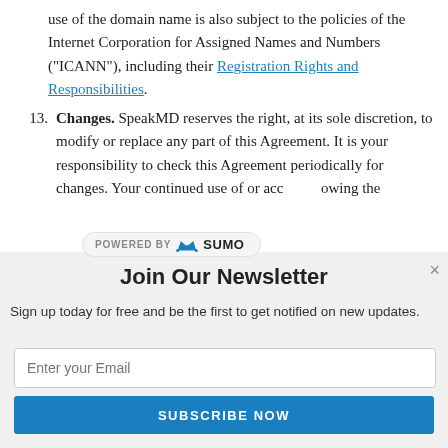use of the domain name is also subject to the policies of the Internet Corporation for Assigned Names and Numbers ("ICANN"), including their Registration Rights and Responsibilities.
13. Changes. SpeakMD reserves the right, at its sole discretion, to modify or replace any part of this Agreement. It is your responsibility to check this Agreement periodically for changes. Your continued use of or acc[...] owing the
[Figure (logo): POWERED BY SUMO badge/watermark overlay on document text]
Join Our Newsletter
Sign up today for free and be the first to get notified on new updates.
Enter your Email
SUBSCRIBE NOW